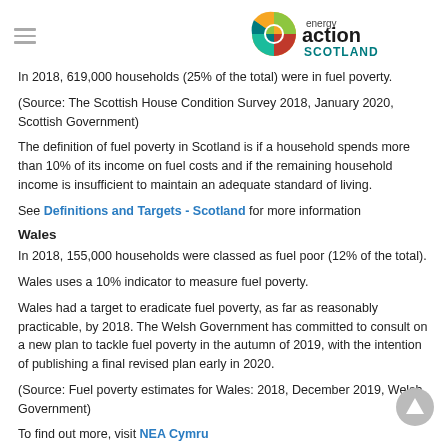Energy Action Scotland
In 2018, 619,000 households (25% of the total) were in fuel poverty.
(Source: The Scottish House Condition Survey 2018, January 2020, Scottish Government)
The definition of fuel poverty in Scotland is if a household spends more than 10% of its income on fuel costs and if the remaining household income is insufficient to maintain an adequate standard of living.
See Definitions and Targets - Scotland for more information
Wales
In 2018, 155,000 households were classed as fuel poor (12% of the total).
Wales uses a 10% indicator to measure fuel poverty.
Wales had a target to eradicate fuel poverty, as far as reasonably practicable, by 2018. The Welsh Government has committed to consult on a new plan to tackle fuel poverty in the autumn of 2019, with the intention of publishing a final revised plan early in 2020.
(Source: Fuel poverty estimates for Wales: 2018, December 2019, Welsh Government)
To find out more, visit NEA Cymru
Northern Ireland